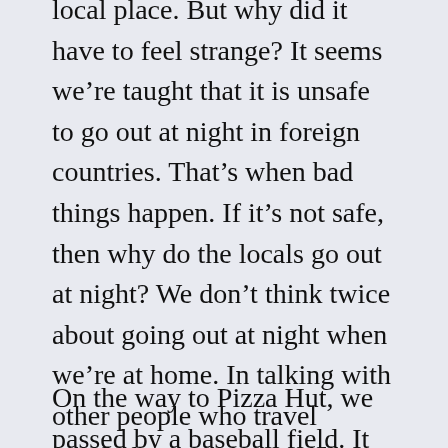local place. But why did it have to feel strange? It seems we’re taught that it is unsafe to go out at night in foreign countries. That’s when bad things happen. If it’s not safe, then why do the locals go out at night? We don’t think twice about going out at night when we’re at home. In talking with other people who travel regularly, I’ve come to the conclusion that people are inherently good, and why should we feel any different about doing things that the locals regularly would.
On the way to Pizza Hut, we passed by a baseball field. It was 9 p.m., but there were still people out there playing. Jokingly, I said we should stop to watch or see if they’d let me join in. Alicia, ever adventurous, was up for it.